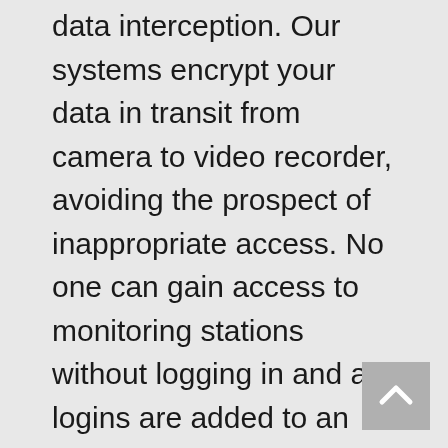data interception. Our systems encrypt your data in transit from camera to video recorder, avoiding the prospect of inappropriate access. No one can gain access to monitoring stations without logging in and all logins are added to an audit log file for administrator review.
Pixels per Foot
The amount of pixels per foot of video coverage determines your ability to recognize objects. Different applications require different resolutions. Pixels-per-foot creates a common metric that can be used to determine how many and of what type of cameras are needed to effectively monitor a facility with predictable image quality. This can be used in conjunction